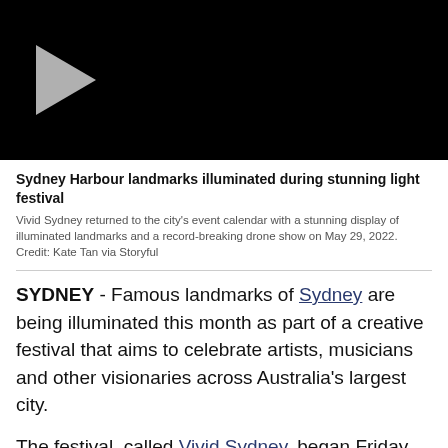[Figure (screenshot): Black video thumbnail with a gray play button triangle on the left side]
Sydney Harbour landmarks illuminated during stunning light festival
Vivid Sydney returned to the city's event calendar with a stunning display of illuminated landmarks and a record-breaking drone show on May 29, 2022. Credit: Kate Tan via Storyful
SYDNEY - Famous landmarks of Sydney are being illuminated this month as part of a creative festival that aims to celebrate artists, musicians and other visionaries across Australia's largest city.
The festival, called Vivid Sydney, began Friday and runs through June 18, 2022. It took a two-year hiatus due to